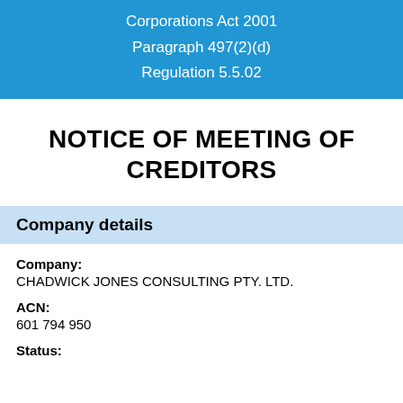Corporations Act 2001
Paragraph 497(2)(d)
Regulation 5.5.02
NOTICE OF MEETING OF CREDITORS
Company details
Company:
CHADWICK JONES CONSULTING PTY. LTD.
ACN:
601 794 950
Status: